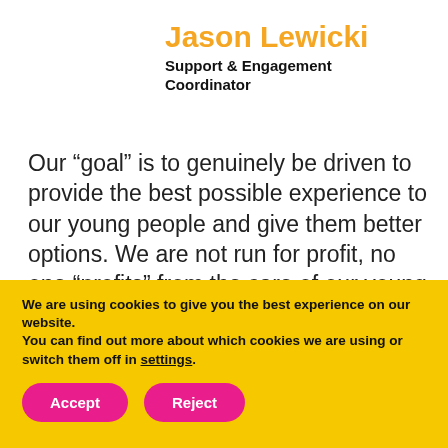Jason Lewicki
Support & Engagement Coordinator
Our “goal” is to genuinely be driven to provide the best possible experience to our young people and give them better options. We are not run for profit, no one “profits” from the care of our young people, they are not seen as a business asset.
We are using cookies to give you the best experience on our website.
You can find out more about which cookies we are using or switch them off in settings.
Accept
Reject